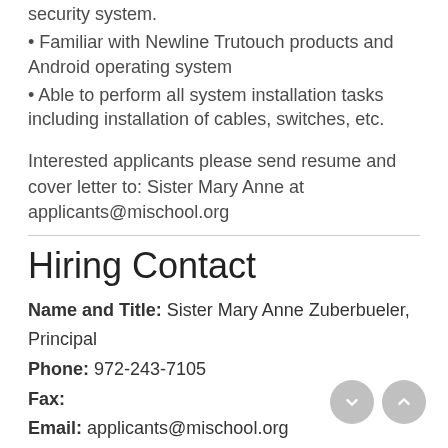security system.
• Familiar with Newline Trutouch products and Android operating system
• Able to perform all system installation tasks including installation of cables, switches, etc.
Interested applicants please send resume and cover letter to: Sister Mary Anne at applicants@mischool.org
Hiring Contact
Name and Title: Sister Mary Anne Zuberbueler, Principal
Phone: 972-243-7105
Fax:
Email: applicants@mischool.org